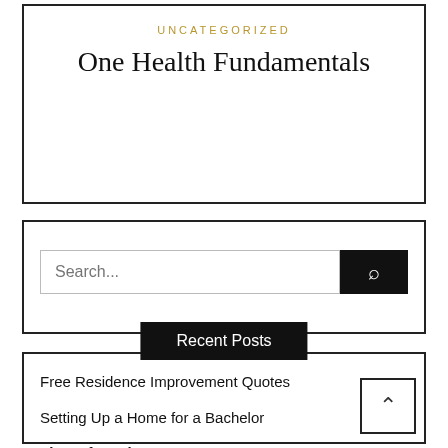UNCATEGORIZED
One Health Fundamentals
Search...
Recent Posts
Free Residence Improvement Quotes
Setting Up a Home for a Bachelor
Flea Infestation FAQ